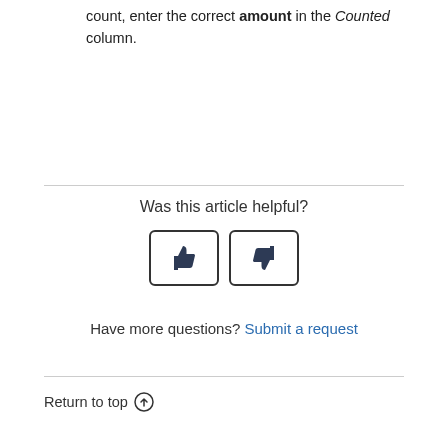8. When you have found the correct closing count, enter the correct amount in the Counted column.
Was this article helpful?
[Figure (other): Two vote buttons: thumbs up and thumbs down]
Have more questions? Submit a request
Return to top ↑